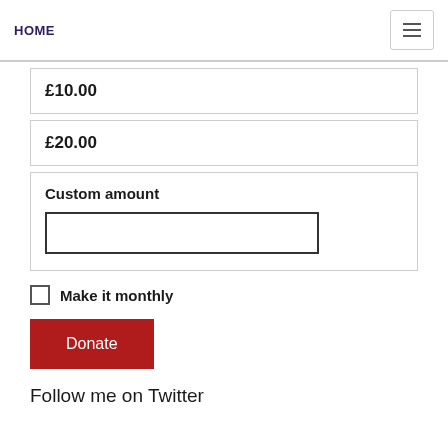HOME
£10.00
£20.00
Custom amount
Make it monthly
Donate
Follow me on Twitter